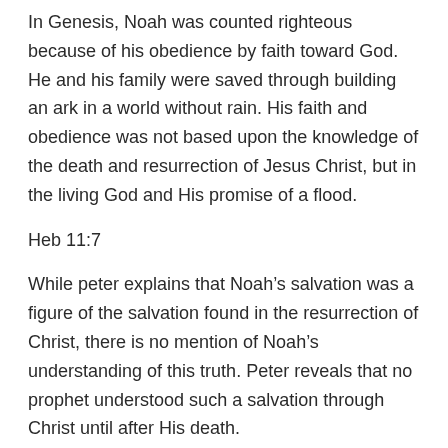In Genesis, Noah was counted righteous because of his obedience by faith toward God. He and his family were saved through building an ark in a world without rain. His faith and obedience was not based upon the knowledge of the death and resurrection of Jesus Christ, but in the living God and His promise of a flood.
Heb 11:7
While peter explains that Noah’s salvation was a figure of the salvation found in the resurrection of Christ, there is no mention of Noah’s understanding of this truth. Peter reveals that no prophet understood such a salvation through Christ until after His death.